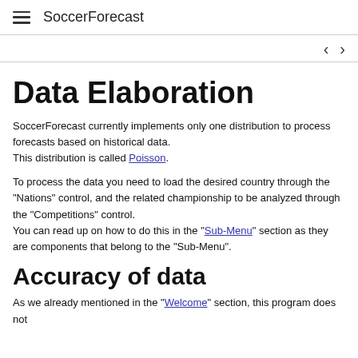SoccerForecast
Data Elaboration
SoccerForecast currently implements only one distribution to process forecasts based on historical data.
This distribution is called Poisson.
To process the data you need to load the desired country through the "Nations" control, and the related championship to be analyzed through the "Competitions" control.
You can read up on how to do this in the "Sub-Menu" section as they are components that belong to the "Sub-Menu".
Accuracy of data
As we already mentioned in the "Welcome" section, this program does not